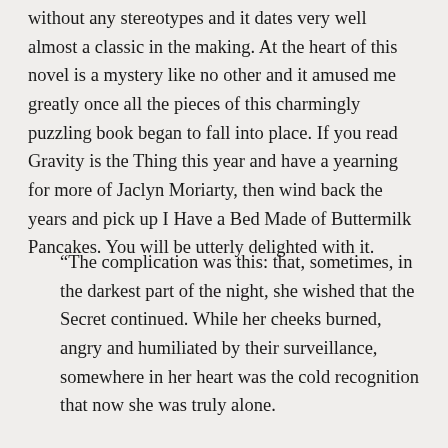without any stereotypes and it dates very well almost a classic in the making. At the heart of this novel is a mystery like no other and it amused me greatly once all the pieces of this charmingly puzzling book began to fall into place. If you read Gravity is the Thing this year and have a yearning for more of Jaclyn Moriarty, then wind back the years and pick up I Have a Bed Made of Buttermilk Pancakes. You will be utterly delighted with it.
“The complication was this: that, sometimes, in the darkest part of the night, she wished that the Secret continued. While her cheeks burned, angry and humiliated by their surveillance, somewhere in her heart was the cold recognition that now she was truly alone.